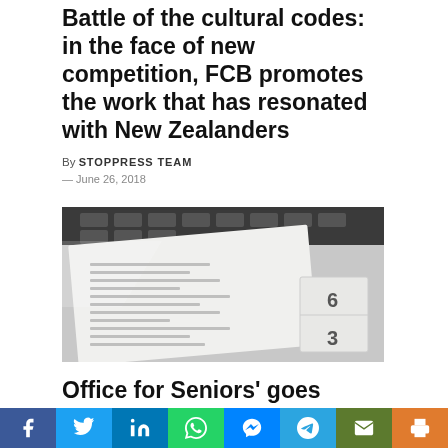Battle of the cultural codes: in the face of new competition, FCB promotes the work that has resonated with New Zealanders
By STOPPRESS TEAM — June 26, 2018
[Figure (photo): Close-up photo of a printed form or ballot paper with numbered items visible]
Office for Seniors' goes undercover to tackle elderly abuse
By STOPPRESS TEAM — June 25, 2018
Social share bar: Facebook, Twitter, LinkedIn, WhatsApp, Messenger, Telegram, Email, Print